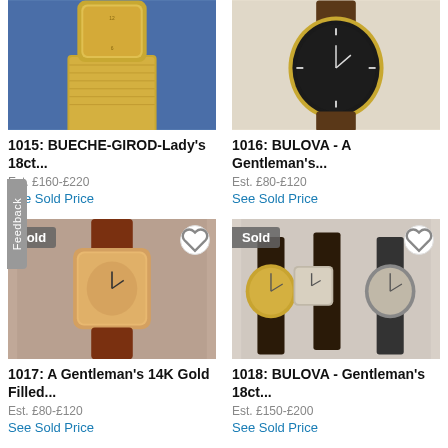[Figure (photo): Partial photo of a Bueche-Girod Lady's 18ct gold watch with gold mesh bracelet on blue background, cropped at top]
1015: BUECHE-GIROD-Lady's 18ct...
Est. £160-£220
See Sold Price
[Figure (photo): Partial photo of a Bulova Gentleman's watch with gold case and brown leather strap, cropped at top]
1016: BULOVA - A Gentleman's...
Est. £80-£120
See Sold Price
[Figure (photo): Photo of a Gentleman's 14K Gold Filled rectangular dress watch with brown leather strap, marked Sold]
1017: A Gentleman's 14K Gold Filled...
Est. £80-£120
See Sold Price
[Figure (photo): Photo of three Bulova Gentleman's 18ct watches with dark leather and mesh straps, marked Sold]
1018: BULOVA - Gentleman's 18ct...
Est. £150-£200
See Sold Price